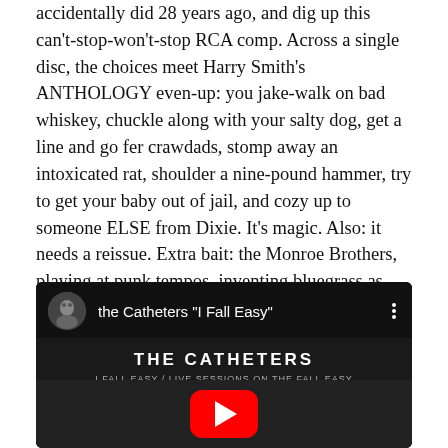accidentally did 28 years ago, and dig up this can't-stop-won't-stop RCA comp. Across a single disc, the choices meet Harry Smith's ANTHOLOGY even-up: you jake-walk on bad whiskey, chuckle along with your salty dog, get a line and go fer crawdads, stomp away an intoxicated rat, shoulder a nine-pound hammer, try to get your baby out of jail, and cozy up to someone ELSE from Dixie. It's magic. Also: it needs a reissue. Extra bait: the Monroe Brothers, playing at punk tempos, inventing bluegrass as they go.
[Figure (screenshot): YouTube video embed showing 'the Catheters "I Fall Easy"' with a dark background, band name THE CATHETERS displayed, and a red YouTube play button in the center.]